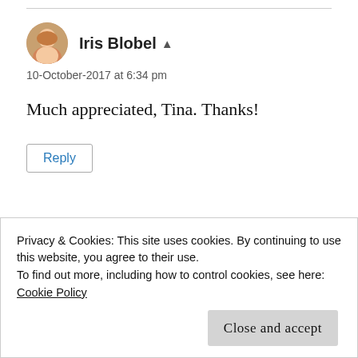Iris Blobel ▲
10-October-2017 at 6:34 pm
Much appreciated, Tina. Thanks!
Reply
Privacy & Cookies: This site uses cookies. By continuing to use this website, you agree to their use.
To find out more, including how to control cookies, see here:
Cookie Policy
Close and accept